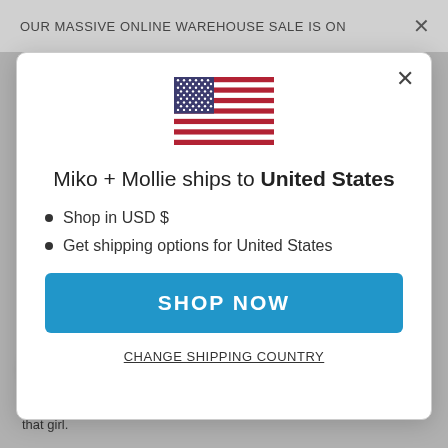OUR MASSIVE ONLINE WAREHOUSE SALE IS ON
[Figure (screenshot): A modal dialog box showing a US flag, text 'Miko + Mollie ships to United States', bullet points for USD and shipping, a blue SHOP NOW button, and a CHANGE SHIPPING COUNTRY link. Behind the modal is a partially visible webpage with a PayPal badge.]
Miko + Mollie ships to United States
Shop in USD $
Get shipping options for United States
SHOP NOW
CHANGE SHIPPING COUNTRY
ive geniuses who designed them for you) a serious injustice. Don't be that girl.